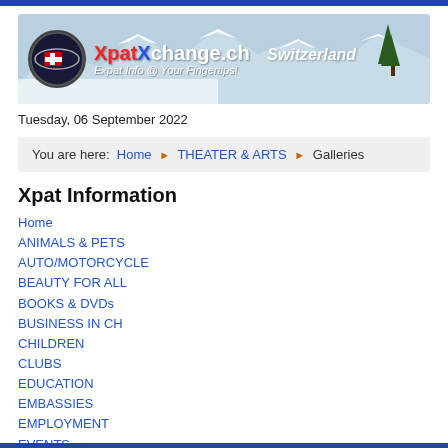[Figure (illustration): XpatXchange.ch website banner showing Swiss Alps mountain landscape with logo and site title. Logo shows Swiss flag icon. Text reads 'XpatXchange.ch Switzerland Expat Info @ Your Fingertips!']
Tuesday, 06 September 2022
You are here: Home ▶ THEATER & ARTS ▶ Galleries
Xpat Information
Home
ANIMALS & PETS
AUTO/MOTORCYCLE
BEAUTY FOR ALL
BOOKS & DVDs
BUSINESS IN CH
CHILDREN
CLUBS
EDUCATION
EMBASSIES
EMPLOYMENT
EVENTS
EXCURSIONS
FOOD, DRINK & FUN